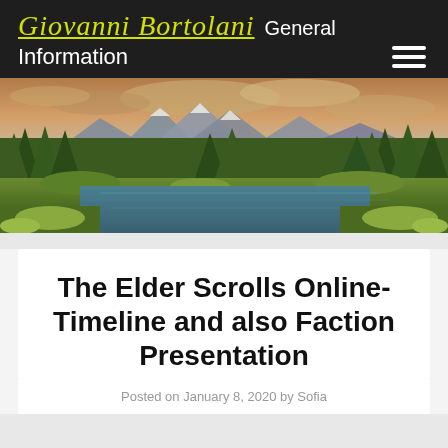Giovanni Bortolani   General Information
[Figure (photo): Landscape photo of a mountain lake scene with pine trees, a calm river or lake, green meadows, and dramatic cloudy sky with mountains in the background.]
The Elder Scrolls Online- Timeline and also Faction Presentation
Posted on  January 8, 2020 by Sofia